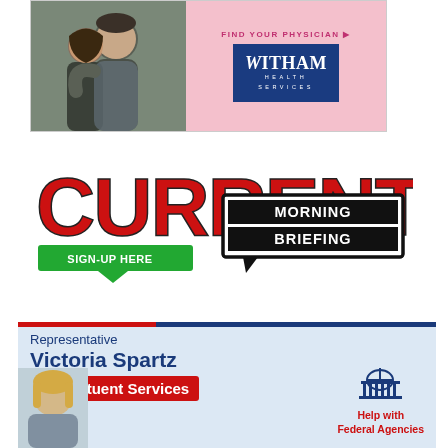[Figure (advertisement): Witham Health Services advertisement with two people hugging on pink background and blue Witham Health Services logo box. Text: FIND YOUR PHYSICIAN]
[Figure (advertisement): Current Morning Briefing advertisement. Large red CURRENT text, green SIGN-UP HERE button, black speech bubble with MORNING BRIEFING text.]
[Figure (advertisement): Representative Victoria Spartz Constituent Services advertisement. Navy text on light blue background with red banner. Photo of representative and capitol icon with Help with Federal Agencies text.]